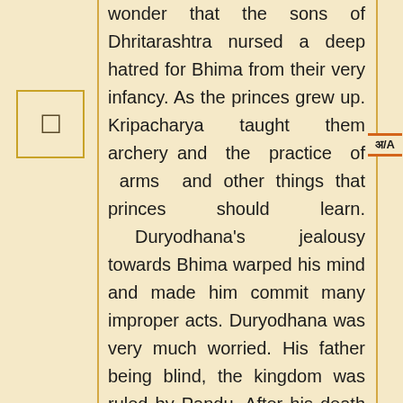wonder that the sons of Dhritarashtra nursed a deep hatred for Bhima from their very infancy. As the princes grew up. Kripacharya taught them archery and the practice of arms and other things that princes should learn. Duryodhana's jealousy towards Bhima warped his mind and made him commit many improper acts. Duryodhana was very much worried. His father being blind, the kingdom was ruled by Pandu. After his death Yudhishthira, the heir-apparent, would in course of time become king. Duryodhana thought that